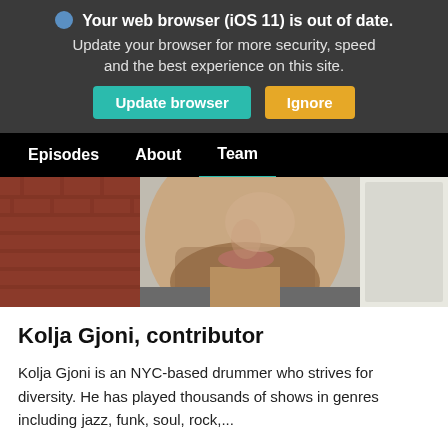Your web browser (iOS 11) is out of date. Update your browser for more security, speed and the best experience on this site. Update browser  Ignore
Episodes  About  Team
[Figure (photo): Close-up photo of a bearded man's face, with a brick wall and white door visible in the background.]
Kolja Gjoni, contributor
Kolja Gjoni is an NYC-based drummer who strives for diversity. He has played thousands of shows in genres including jazz, funk, soul, rock,...